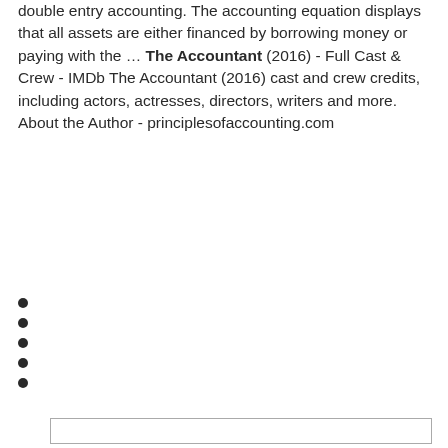double entry accounting. The accounting equation displays that all assets are either financed by borrowing money or paying with the … The Accountant (2016) - Full Cast & Crew - IMDb The Accountant (2016) cast and crew credits, including actors, actresses, directors, writers and more. About the Author - principlesofaccounting.com